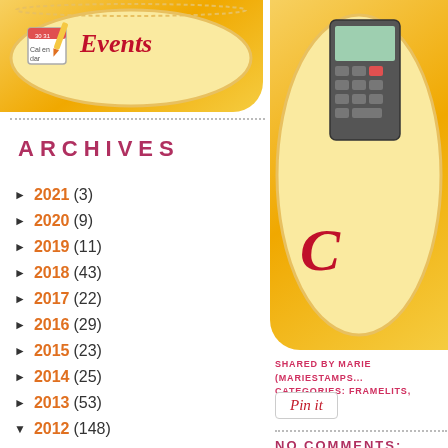[Figure (illustration): Yellow decorative banner with calendar and cursive text for events, left side]
[Figure (illustration): Yellow decorative banner with calculator/device, right side, partially visible]
ARCHIVES
► 2021 (3)
► 2020 (9)
► 2019 (11)
► 2018 (43)
► 2017 (22)
► 2016 (29)
► 2015 (23)
► 2014 (25)
► 2013 (53)
▼ 2012 (148)
► December (18)
SHARED BY MARIE (MARIESTAMPS... CATEGORIES: FRAMELITS, HALLO...
[Figure (other): Pin It button]
NO COMMENTS:
POST A COMMENT
Thank you for blessing me with yo... every one. Have a fabulous day!
To leave a comment, click the...